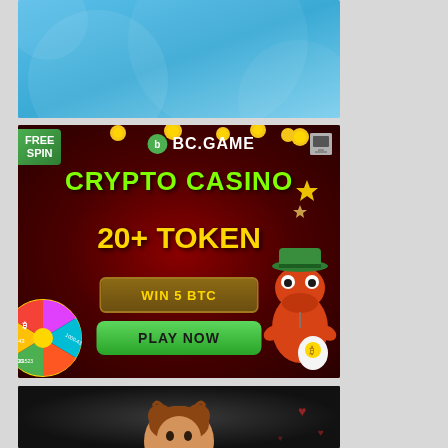[Figure (illustration): Top light blue banner with wave/circle decorative elements]
[Figure (illustration): BC.GAME crypto casino advertisement banner with dark red background. Shows 'FREE SPIN' badge, BC.GAME logo, 'CRYPTO CASINO', '20+ TOKEN', 'WIN 5 BTC' button, 'PLAY NOW' green button, a spin wheel on the left, and a cartoon crocodile character on the right.]
[Figure (illustration): Bottom dark banner showing partial view of a cartoon female character with braided hair on dark background with red decorative elements.]